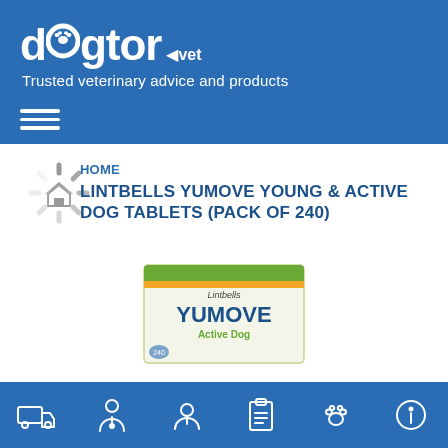[Figure (logo): Dogtor.vet logo with tagline 'Trusted veterinary advice and products' on blue header background]
[Figure (other): Hamburger menu icon (three horizontal white lines) on blue background]
HOME
LINTBELLS YUMOVE YOUNG & ACTIVE DOG TABLETS (PACK OF 240)
[Figure (photo): Lintbells YuMOVE Active Dog product box partially visible at bottom of page]
[Figure (other): Footer navigation bar with 6 icons: delivery truck, veterinarian, customer service, clipboard, paw print, info circle]